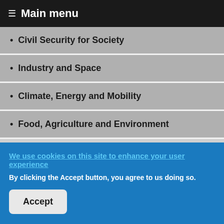≡ Main menu
Civil Security for Society
Industry and Space
Climate, Energy and Mobility
Food, Agriculture and Environment
Technologies
Main Projects
We use cookies on this site to enhance your user experience
By clicking the Accept button, you agree to us doing so.
Accept